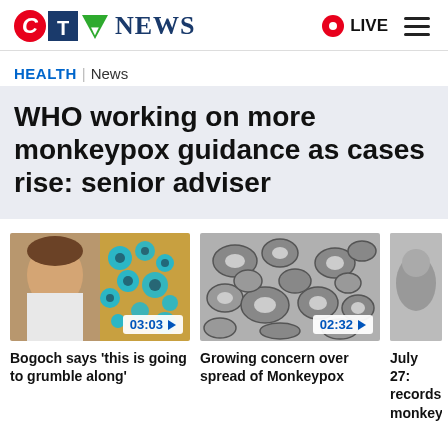CTV News | LIVE
HEALTH | News
WHO working on more monkeypox guidance as cases rise: senior adviser
[Figure (screenshot): Video thumbnail showing a man and microscope image of monkeypox virus particles with duration 03:03]
Bogoch says 'this is going to grumble along'
[Figure (screenshot): Video thumbnail showing microscope image of monkeypox virus particles with duration 02:32]
Growing concern over spread of Monkeypox
[Figure (screenshot): Partially visible third video thumbnail]
July 27: records monkey